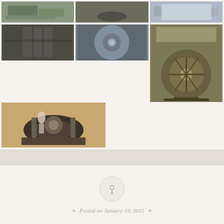[Figure (photo): Gallery of 6 military/aviation photographs including armored vehicles, aircraft interiors, engine close-ups, and radial engines on display]
[Figure (photo): Single photo of radial engine close-up from below]
Posted on January 19, 2015